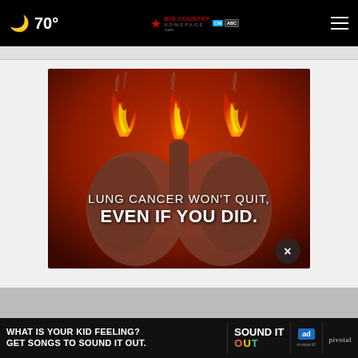🌙 70° — Big Country Homepage — ☰
[Figure (photo): Anti-lung cancer awareness advertisement showing stylized lung shapes on fire against a red background with text: LUNG CANCER WON'T QUIT, EVEN IF YOU DID.]
[Figure (photo): Bottom banner advertisement: WHAT IS YOUR KID FEELING? GET SONGS TO SOUND IT OUT. — Sound It Out campaign by Ad Council and Pivotal]